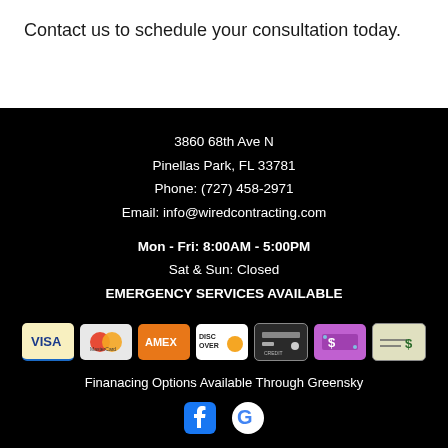Contact us to schedule your consultation today.
3860 68th Ave N
Pinellas Park, FL 33781
Phone: (727) 458-2971
Email: info@wiredcontracting.com
Mon - Fri: 8:00AM - 5:00PM
Sat & Sun: Closed
EMERGENCY SERVICES AVAILABLE
[Figure (logo): Payment method icons: Visa, MasterCard, Amex, Discover, Credit Card, Cash, Check]
Finanacing Options Available Through Greensky
[Figure (logo): Social media icons: Facebook, Google]